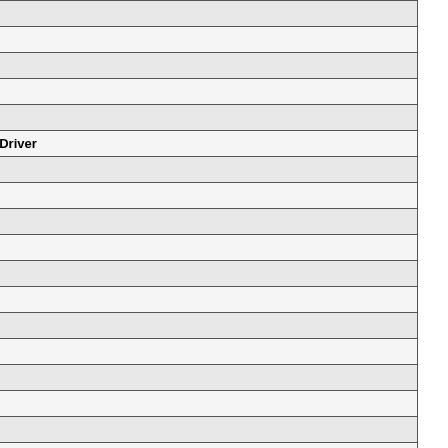| Driver |
| --- |
| CF-51xxxxC driver |
| CF-73J driver |
| CF-50xxxxExx driver |
| CF-51J driver |
| CF-19C (mk1), CF-30C, CF-30D driver |
| Driver |
| CF-19H (mk2), CF-30F, CF-30G driver |
| CF-18B (mk1) driver |
| CF-18B (mk1) driver |
| CF-19D (mk1) driver |
| CF-19H (mk2) driver |
| CF-18D (mk2) driver |
| CF-19F (mk2) driver |
| CF-18K (mk4) driver |
| Cf 27 driver |
| Toughbook CF-27 driver |
| CF27 driver |
| NV-DS65A driver |
| NV-EX3 driver |
| CF-47 driver |
| S3 Incorporated Display Driver v3.27.05 Engineering driver |